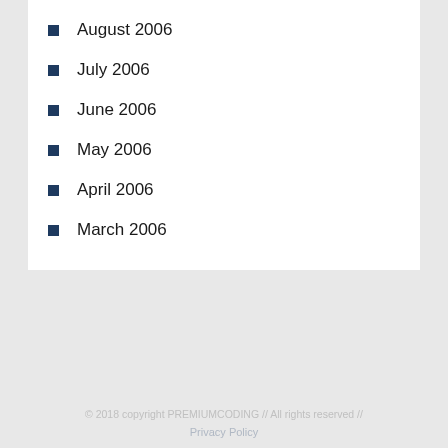August 2006
July 2006
June 2006
May 2006
April 2006
March 2006
© 2018 copyright PREMIUMCODING // All rights reserved //
Privacy Policy